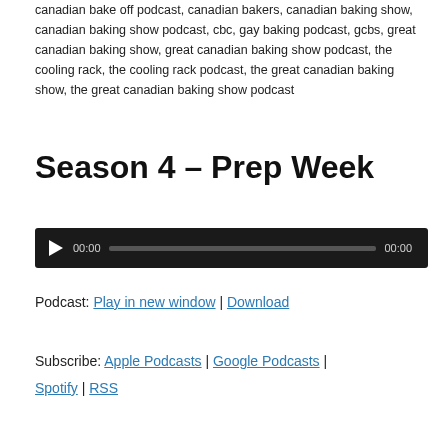canadian bake off podcast, canadian bakers, canadian baking show, canadian baking show podcast, cbc, gay baking podcast, gcbs, great canadian baking show, great canadian baking show podcast, the cooling rack, the cooling rack podcast, the great canadian baking show, the great canadian baking show podcast
Season 4 – Prep Week
[Figure (other): Audio player with play button, 00:00 start time, progress bar, and 00:00 end time on dark background]
Podcast: Play in new window | Download
Subscribe: Apple Podcasts | Google Podcasts | Spotify | RSS